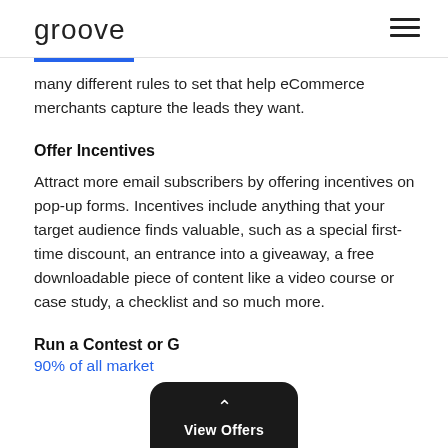groove
many different rules to set that help eCommerce merchants capture the leads they want.
Offer Incentives
Attract more email subscribers by offering incentives on pop-up forms. Incentives include anything that your target audience finds valuable, such as a special first-time discount, an entrance into a giveaway, a free downloadable piece of content like a video course or case study, a checklist and so much more.
Run a Contest or G...
90% of all market... hat social media